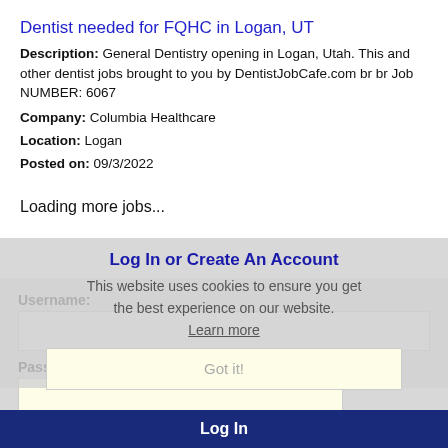Dentist needed for FQHC in Logan, UT
Description: General Dentistry opening in Logan, Utah. This and other dentist jobs brought to you by DentistJobCafe.com br br Job NUMBER: 6067
Company: Columbia Healthcare
Location: Logan
Posted on: 09/3/2022
Loading more jobs...
Log In or Create An Account
Username:
Password:
This website uses cookies to ensure you get the best experience on our website. Learn more
Got it!
Log In